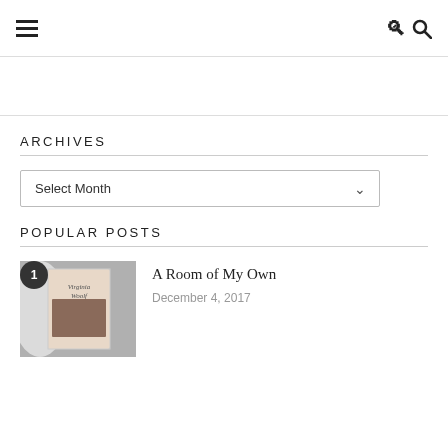☰ 🔍
ARCHIVES
Select Month
POPULAR POSTS
[Figure (photo): Book photo thumbnail showing Virginia Woolf book cover]
A Room of My Own
December 4, 2017